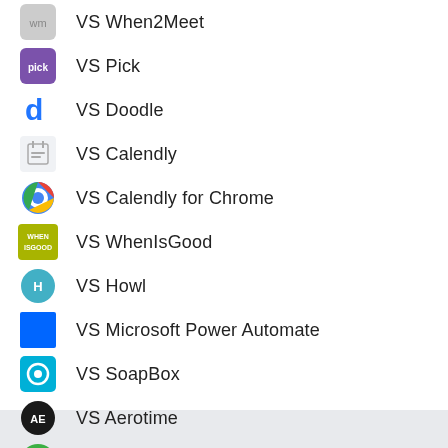VS When2Meet
VS Pick
VS Doodle
VS Calendly
VS Calendly for Chrome
VS WhenIsGood
VS Howl
VS Microsoft Power Automate
VS SoapBox
VS Aerotime
VS Cogsworth
VS Plann3r
VS WhenAvailable